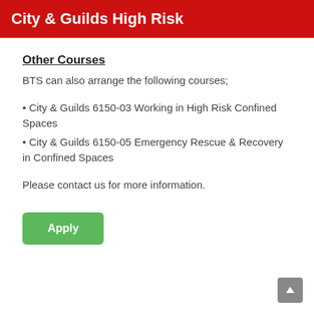City & Guilds High Risk
Other Courses
BTS can also arrange the following courses;
• City & Guilds 6150-03 Working in High Risk Confined Spaces
• City & Guilds 6150-05 Emergency Rescue & Recovery in Confined Spaces
Please contact us for more information.
[Figure (other): Green Apply button]